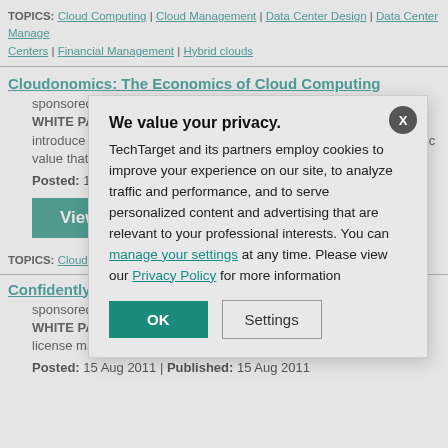TOPICS: Cloud Computing | Cloud Management | Data Center Design | Data Center Manage... Centers | Financial Management | Hybrid clouds
Cloudonomics: The Economics of Cloud Computing
sponsored by Rackspace Hosting
WHITE PAPER: In this paper we detail these four mechanisms and introduce case studies and examples to show the increased economic value that Cloud Computing brings to an organization.
Posted: 11 Feb 201...
View Now
TOPICS: Cloud Compu... Financial Management |...
Confidently maximize...
sponsored by IBM
WHITE PAPER: IBM... performance and inc... provisioning, IT mon... license management...
Posted: 15 Aug 2011 | Published: 15 Aug 2011
We value your privacy. TechTarget and its partners employ cookies to improve your experience on our site, to analyze traffic and performance, and to serve personalized content and advertising that are relevant to your professional interests. You can manage your settings at any time. Please view our Privacy Policy for more information
OK
Settings